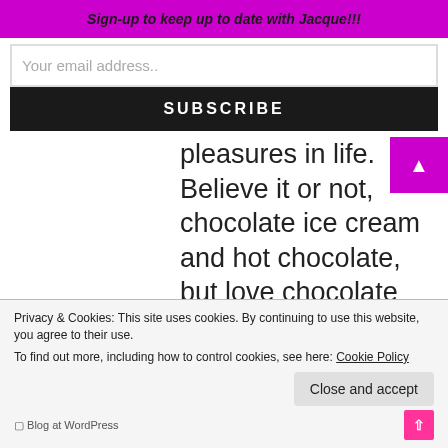Sign-up to keep up to date with Jacque!!!
Your email address..
SUBSCRIBE
pleasures in life. Believe it or not, chocolate ice cream and hot chocolate, but love chocolate milk. Weird right? But as far as chocolate candy goes: Crispy M&Ms (well, any M&Ms in general), Kit Kats, Snickers, and Reese’s peanut butter cups. Chocolate chip
Privacy & Cookies: This site uses cookies. By continuing to use this website, you agree to their use.
To find out more, including how to control cookies, see here: Cookie Policy
Close and accept
Blog at WordPress